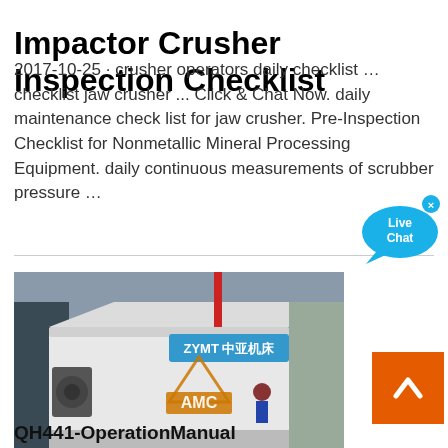Impactor Crusher Inspection Checklist
2017-10-25 · crusher operators daily checklist … checklist jaw crusher ... Click & Chat Now. daily maintenance check list for jaw crusher. Pre-Inspection Checklist for Nonmetallic Mineral Processing Equipment. daily continuous measurements of scrubber pressure …
[Figure (photo): Industrial machine in a factory setting with ZYMT 中亚机床 branding on a large white press brake machine; AMC watermark overlay visible in foreground]
QH441-OperationManual